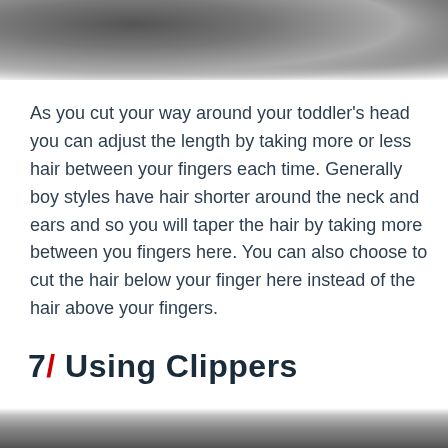[Figure (photo): Blurred black and white photo at the top of the page, partially visible]
As you cut your way around your toddler's head you can adjust the length by taking more or less hair between your fingers each time. Generally boy styles have hair shorter around the neck and ears and so you will taper the hair by taking more between you fingers here. You can also choose to cut the hair below your finger here instead of the hair above your fingers.
7/ Using Clippers
[Figure (photo): Blurred black and white photo at the bottom of the page, partially visible]